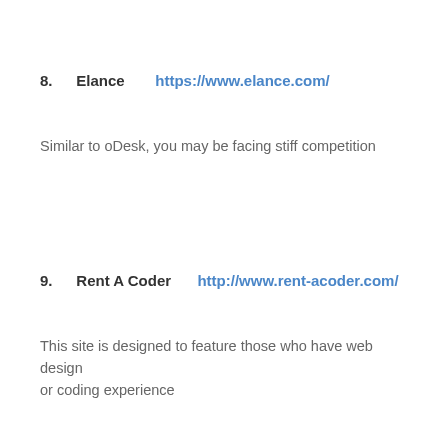8. Elance https://www.elance.com/
Similar to oDesk, you may be facing stiff competition
9. Rent A Coder http://www.rent-acoder.com/
This site is designed to feature those who have web design or coding experience